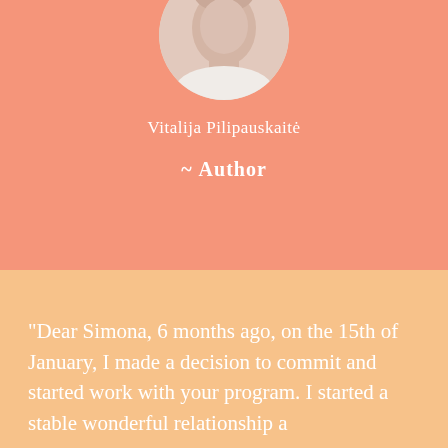[Figure (photo): Circular cropped portrait photo of a person wearing a white top, shown from shoulders up, with a salmon/coral background]
Vitalija Pilipauskaitė
~ Author
"Dear Simona, 6 months ago, on the 15th of January, I made a decision to commit and started work with your program. I started a stable wonderful relationship a